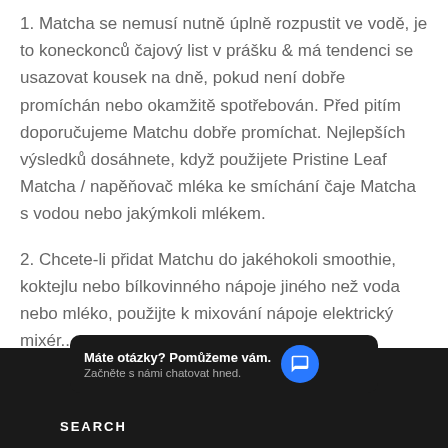1. Matcha se nemusí nutně úplně rozpustit ve vodě, je to koneckonců čajový list v prášku & má tendenci se usazovat kousek na dně, pokud není dobře promíchán nebo okamžitě spotřebován. Před pitím doporučujeme Matchu dobře promíchat. Nejlepších výsledků dosáhnete, když použijete Pristine Leaf Matcha / napěňovač mléka ke smíchání čaje Matcha s vodou nebo jakýmkoli mlékem.
2. Chcete-li přidat Matchu do jakéhokoli smoothie, koktejlu nebo bílkovinného nápoje jiného než voda nebo mléko, použijte k mixování nápoje elektrický mixér..
Máte otázky? Pomůžeme vám. Začněte s námi chatovat hned.
SEARCH